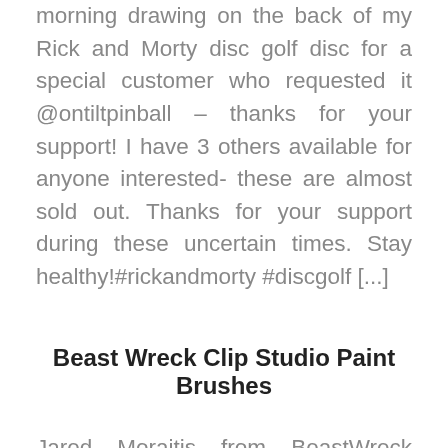morning drawing on the back of my Rick and Morty disc golf disc for a special customer who requested it @ontiltpinball – thanks for your support! I have 3 others available for anyone interested- these are almost sold out. Thanks for your support during these uncertain times. Stay healthy!#rickandmorty #discgolf [...]
Beast Wreck Clip Studio Paint Brushes
Jared Moraitis from BeastWreck (work shown above) is one of my all-time